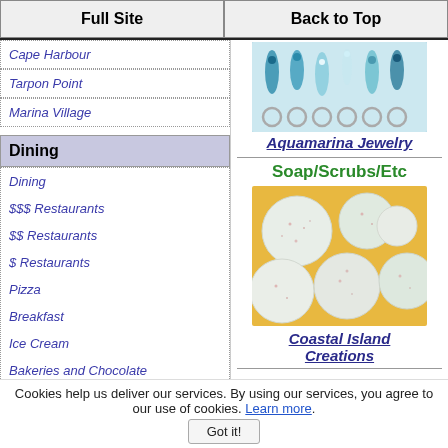Full Site | Back to Top
Cape Harbour
Tarpon Point
Marina Village
Dining
Dining
$$$ Restaurants
$$ Restaurants
$ Restaurants
Pizza
Breakfast
Ice Cream
Bakeries and Chocolate
[Figure (photo): Aquamarina jewelry keychains with blue and teal beads]
Aquamarina Jewelry
Soap/Scrubs/Etc
[Figure (photo): Round white soap bars with pink flecks on orange background]
Coastal Island Creations
Cookies help us deliver our services. By using our services, you agree to our use of cookies. Learn more.